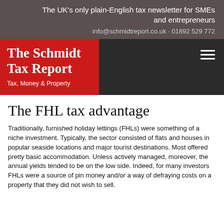The UK's only plain-English tax newsletter for SMEs and entrepreneurs
info@schmidtreport.co.uk · 01892 529 772
[Figure (logo): The Schmidt Tax Report logo — white bold serif text on red background with subtitle 'Tax, Money & Property']
The FHL tax advantage
Traditionally, furnished holiday lettings (FHLs) were something of a niche investment. Typically, the sector consisted of flats and houses in popular seaside locations and major tourist destinations. Most offered pretty basic accommodation. Unless actively managed, moreover, the annual yields tended to be on the low side. Indeed, for many investors FHLs were a source of pin money and/or a way of defraying costs on a property that they did not wish to sell.